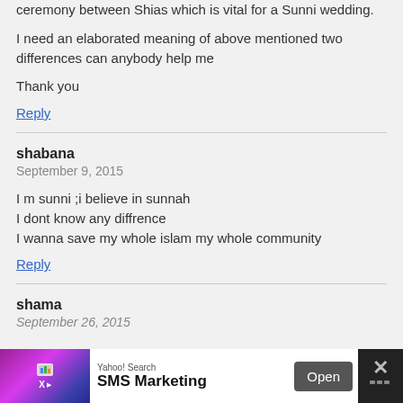ceremony between Shias which is vital for a Sunni wedding.
I need an elaborated meaning of above mentioned two differences can anybody help me
Thank you
Reply
shabana
September 9, 2015
I m sunni ;i believe in sunnah
I dont know any diffrence
I wanna save my whole islam my whole community
Reply
shama
September 26, 2015
[Figure (infographic): Advertisement banner at the bottom of the page. Yahoo! Search SMS Marketing with an Open button and close X button.]